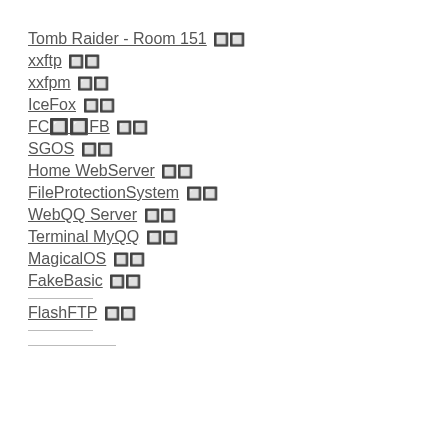Tomb Raider - Room 151 🔲🔲
xxftp 🔲🔲
xxfpm 🔲🔲
IceFox 🔲🔲
FC🔲🔲FB 🔲🔲
SGOS 🔲🔲
Home WebServer 🔲🔲
FileProtectionSystem 🔲🔲
WebQQ Server 🔲🔲
Terminal MyQQ 🔲🔲
MagicalOS 🔲🔲
FakeBasic 🔲🔲
FlashFTP 🔲🔲